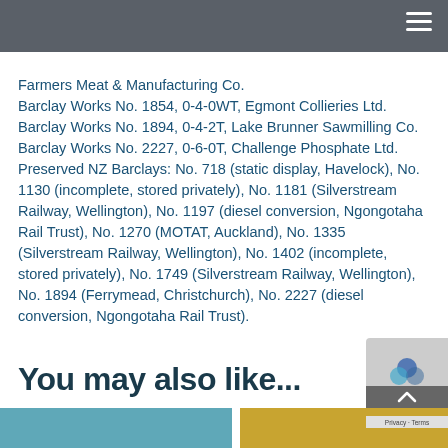Farmers Meat & Manufacturing Co.
Barclay Works No. 1854, 0-4-0WT, Egmont Collieries Ltd.
Barclay Works No. 1894, 0-4-2T, Lake Brunner Sawmilling Co.
Barclay Works No. 2227, 0-6-0T, Challenge Phosphate Ltd.
Preserved NZ Barclays: No. 718 (static display, Havelock), No. 1130 (incomplete, stored privately), No. 1181 (Silverstream Railway, Wellington), No. 1197 (diesel conversion, Ngongotaha Rail Trust), No. 1270 (MOTAT, Auckland), No. 1335 (Silverstream Railway, Wellington), No. 1402 (incomplete, stored privately), No. 1749 (Silverstream Railway, Wellington), No. 1894 (Ferrymead, Christchurch), No. 2227 (diesel conversion, Ngongotaha Rail Trust).
You may also like...